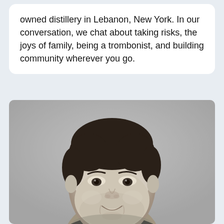owned distillery in Lebanon, New York. In our conversation, we chat about taking risks, the joys of family, being a trombonist, and building community wherever you go.
[Figure (photo): Black and white portrait photo of a smiling middle-aged man with dark hair, wearing a dark jacket, facing slightly to the right.]